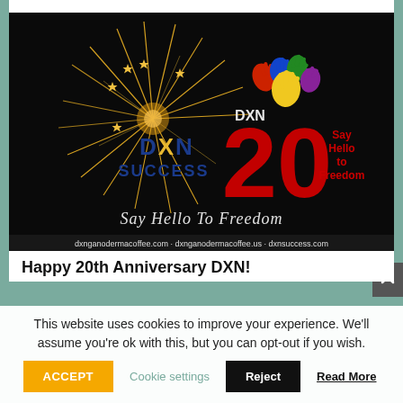[Figure (illustration): DXN 20th Anniversary promotional banner with fireworks on dark background. Left side shows fireworks burst in gold/orange with DXN SUCCESS text in blue/yellow. Right side shows large red number '20' with colorful handprints above it, 'DXN' text, 'Say Hello to Freedom' text in red, and 'Say Hello To Freedom' in cursive script below. Website URLs at bottom: dxnganodermacoffee.com, dxnganodermacoffee.us, dxnsuccess.com]
Happy 20th Anniversary DXN!
This website uses cookies to improve your experience. We'll assume you're ok with this, but you can opt-out if you wish.